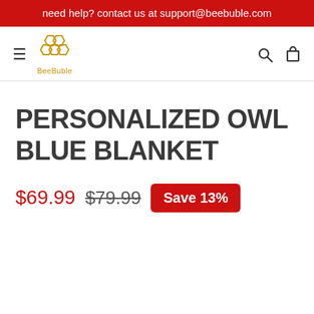need help? contact us at support@beebuble.com
[Figure (logo): BeeBuble logo with honeycomb bee icon and text 'BeeBuble' in orange]
PERSONALIZED OWL BLUE BLANKET
$69.99  $79.99  Save 13%